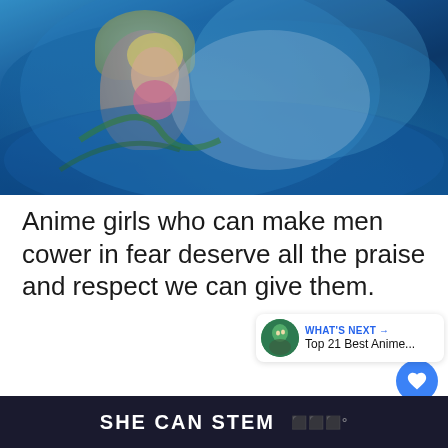[Figure (illustration): Anime illustration showing a girl with blonde hair in a pink outfit alongside a large blue creature, rendered in blue tones]
Anime girls who can make men cower in fear deserve all the praise and respect we can give them.
It can't be easy being mad all the time, but these characters stepped up to the challenge and gave us the best texture all shows have: a strong woman unfettered by the usual roles assigned to their gender.
SHE CAN STEM